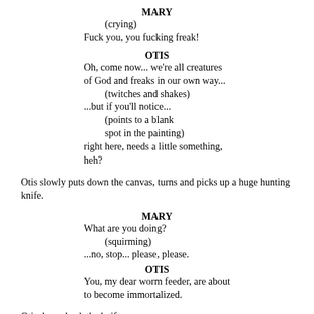MARY
(crying)
Fuck you, you fucking freak!
OTIS
Oh, come now... we're all creatures of God and freaks in our own way...
(twitches and shakes)
...but if you'll notice...
(points to a blank
spot in the painting)
right here, needs a little something,
heh?
Otis slowly puts down the canvas, turns and picks up a huge hunting knife.
MARY
What are you doing?
(squirming)
...no, stop... please, please.
OTIS
You, my dear worm feeder, are about to become immortalized.
Otis draws back the knife.
MARY
(screaming)